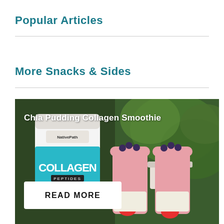Popular Articles
More Snacks & Sides
[Figure (photo): Photo of a NativePath Grass-Fed Collagen Peptides container beside two pink smoothie cups topped with blueberries and strawberries, with plants in the background. Overlaid text reads 'Chia Pudding Collagen Smoothie' and a white 'READ MORE' button.]